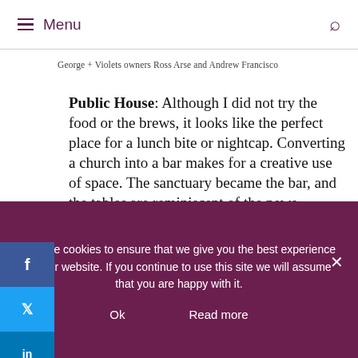Menu
George + Violets owners Ross Arse and Andrew Francisco
Public House: Although I did not try the food or the brews, it looks like the perfect place for a lunch bite or nightcap. Converting a church into a bar makes for a creative use of space. The sanctuary became the bar, and the tables are reminiscent of the pews because of their design and construction. It appears to be a fun place to hang out and perpetuates a feeling of the community gathering place.
We use cookies to ensure that we give you the best experience on our website. If you continue to use this site we will assume that you are happy with it.
Ok   Read more